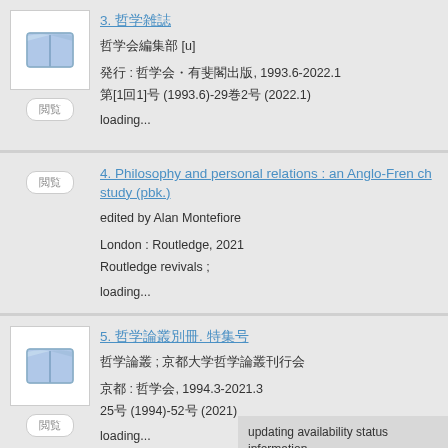3. [Japanese title]
[Japanese text] [u]
[kanji] : [publisher], 1993.6-2022.1
[kanji][1][kanji]1[kanji] (1993.6)-29[kanji]2[kanji] (2022.1)
loading...
4. Philosophy and personal relations : an Anglo-French study (pbk.)
edited by Alan Montefiore
London : Routledge, 2021
Routledge revivals ;
loading...
5. [Japanese title]
[Japanese text] ; [Japanese text]
[kanji] : [publisher], 1994.3-2021.3
25[kanji] (1994)-52[kanji] (2021)
loading...
updating availability status information...